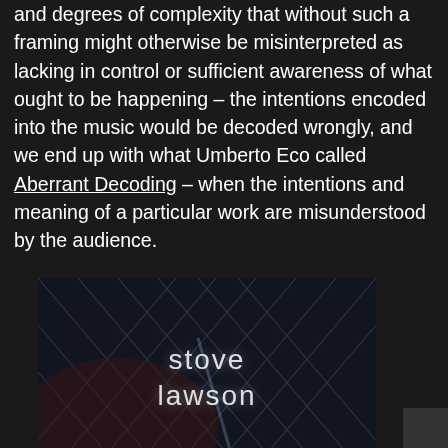and degrees of complexity that without such a framing might otherwise be misinterpreted as lacking in control or sufficient awareness of what ought to be happening – the intentions encoded into the music would be decoded wrongly, and we end up with what Umberto Eco called Aberrant Decoding – when the intentions and meaning of a particular work are misunderstood by the audience.
[Figure (photo): Album art image for Steve Lawson, showing a dark abstract background with diagonal lattice/wire patterns in dark blues and browns, with the text 'steve lawson' displayed in a light, thin sans-serif font in the center]